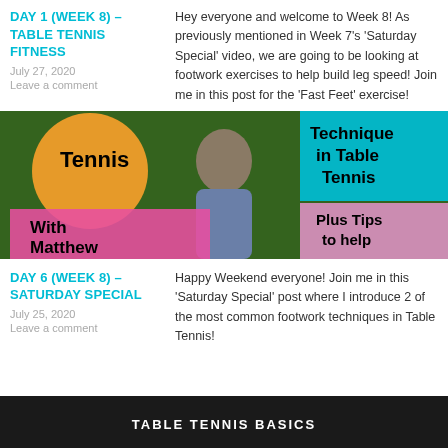DAY 1 (WEEK 8) – TABLE TENNIS FITNESS
July 27, 2020
Leave a comment
Hey everyone and welcome to Week 8! As previously mentioned in Week 7's 'Saturday Special' video, we are going to be looking at footwork exercises to help build leg speed! Join me in this post for the 'Fast Feet' exercise!
[Figure (photo): Banner image showing a man wearing sunglasses and a grey hoodie, standing in front of green foliage. Colorful overlays show text: 'Tennis', 'With Matthew', 'Technique in Table Tennis', 'Plus Tips to help']
DAY 6 (WEEK 8) – SATURDAY SPECIAL
July 25, 2020
Leave a comment
Happy Weekend everyone! Join me in this 'Saturday Special' post where I introduce 2 of the most common footwork techniques in Table Tennis!
[Figure (photo): Partial banner image at bottom with dark background and white uppercase text beginning with 'TABLE TENNIS']